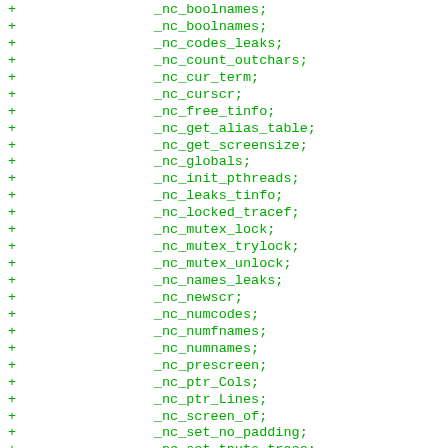+                 _nc_boolnames;
+                 _nc_boolnames;
+                 _nc_codes_leaks;
+                 _nc_count_outchars;
+                 _nc_cur_term;
+                 _nc_curscr;
+                 _nc_free_tinfo;
+                 _nc_get_alias_table;
+                 _nc_get_screensize;
+                 _nc_globals;
+                 _nc_init_pthreads;
+                 _nc_leaks_tinfo;
+                 _nc_locked_tracef;
+                 _nc_mutex_lock;
+                 _nc_mutex_trylock;
+                 _nc_mutex_unlock;
+                 _nc_names_leaks;
+                 _nc_newscr;
+                 _nc_numcodes;
+                 _nc_numfnames;
+                 _nc_numnames;
+                 _nc_prescreen;
+                 _nc_ptr_Cols;
+                 _nc_ptr_Lines;
+                 _nc_screen_of;
+                 _nc_set_no_padding;
+                 _nc_set_tputs_trace;
+                 _nc_stdscr;
+                 _nc_strcodes;
+                 _nc_strfnames;
+                 _nc_strnames;
+                 _nc_tracechar;
+                 _nc_ttytype;